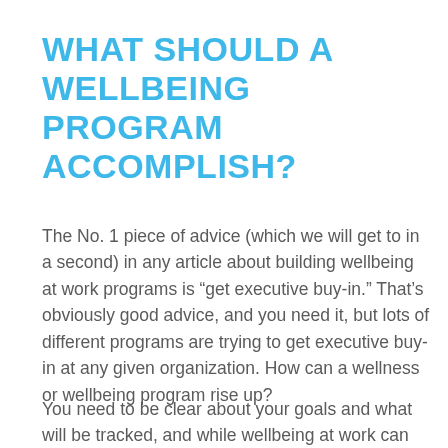WHAT SHOULD A WELLBEING PROGRAM ACCOMPLISH?
The No. 1 piece of advice (which we will get to in a second) in any article about building wellbeing at work programs is “get executive buy-in.” That’s obviously good advice, and you need it, but lots of different programs are trying to get executive buy-in at any given organization. How can a wellness or wellbeing program rise up?
You need to be clear about your goals and what will be tracked, and while wellbeing at work can be